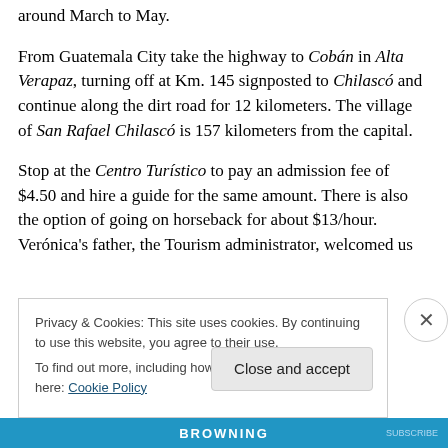around March to May.
From Guatemala City take the highway to Cobán in Alta Verapaz, turning off at Km. 145 signposted to Chilascó and continue along the dirt road for 12 kilometers. The village of San Rafael Chilascó is 157 kilometers from the capital.
Stop at the Centro Turístico to pay an admission fee of $4.50 and hire a guide for the same amount. There is also the option of going on horseback for about $13/hour. Verónica's father, the Tourism administrator, welcomed us
Privacy & Cookies: This site uses cookies. By continuing to use this website, you agree to their use.
To find out more, including how to control cookies, see here: Cookie Policy